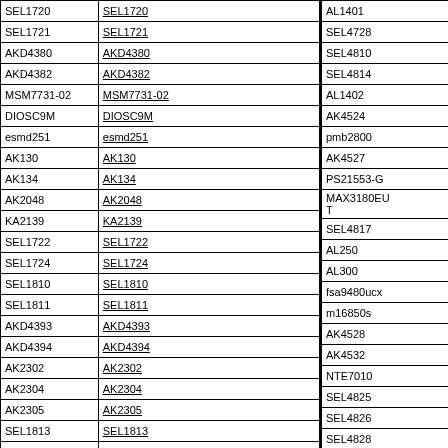| SEL1720 | SEL1720 |
| SEL1721 | SEL1721 |
| AKD4380 | AKD4380 |
| AKD4382 | AKD4382 |
| MSM7731-02 | MSM7731-02 |
| DIOSC9M | DIOSC9M |
| esmd251 | esmd251 |
| AK130 | AK130 |
| AK134 | AK134 |
| AK2048 | AK2048 |
| KA2139 | KA2139 |
| SEL1722 | SEL1722 |
| SEL1724 | SEL1724 |
| SEL1810 | SEL1810 |
| SEL1811 | SEL1811 |
| AKD4393 | AKD4393 |
| AKD4394 | AKD4394 |
| AK2302 | AK2302 |
| AK2304 | AK2304 |
| AK2305 | AK2305 |
| SEL1813 | SEL1813 |
| SEL1820 | SEL1820 |
| SEL1821 | SEL1821 |
| SEL1822 | SEL1822 |
| SEL1824 | SEL1824 |
| AL1401 |
| SEL4728 |
| SEL4810 |
| SEL4814 |
| AL1402 |
| AK4524 |
| pmb2800 |
| AK4527 |
| PS21553-G |
| MAX3180EUT |
| SEL4817 |
| AL250 |
| AL300 |
| fsa9480ucx |
| m16850s |
| AK4528 |
| AK4532 |
| NTE7010 |
| SEL4825 |
| SEL4826 |
| SEL4828 |
| SEL4829 |
| SEL4910 |
| AL3201 |
| AL400 |